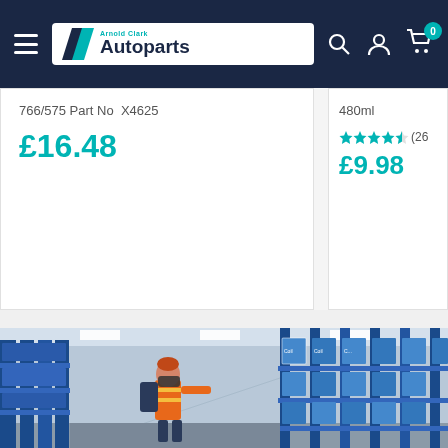Arnold Clark Autoparts
766/575 Part No  X4625
£16.48
480ml
★★★★½ (26)
£9.98
[Figure (photo): Warehouse interior with blue metal shelving racks stocked with blue and white packaged products. A worker wearing a face mask and high-visibility vest is reaching to pick an item from a shelf.]